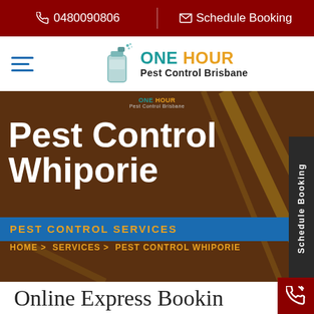0480090806 | Schedule Booking
[Figure (logo): One Hour Pest Control Brisbane logo with spray can icon, hamburger menu icon on the left]
[Figure (infographic): Brown hero banner with diagonal yellow lines, small One Hour Pest Control Brisbane logo, large white bold text 'Pest Control Whiporie', blue bar with gold text 'PEST CONTROL SERVICES', breadcrumb 'HOME > SERVICES > PEST CONTROL WHIPORIE' in gold]
Schedule Booking (vertical tab)
Online Express Bookin